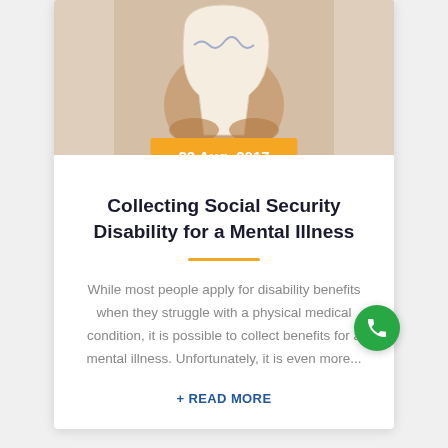[Figure (photo): Hands holding a paper cutout of a human head silhouette with brain wave drawing on it]
22 Aug, 2017
Collecting Social Security Disability for a Mental Illness
While most people apply for disability benefits when they struggle with a physical medical condition, it is possible to collect benefits for a mental illness. Unfortunately, it is even more...
+ READ MORE